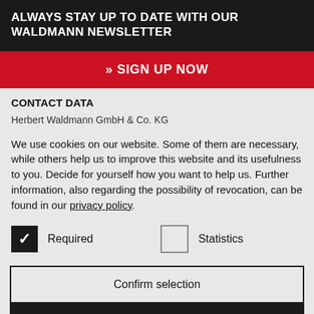ALWAYS STAY UP TO DATE WITH OUR WALDMANN NEWSLETTER
» SIGN UP NOW
CONTACT DATA
Herbert Waldmann GmbH & Co. KG
We use cookies on our website. Some of them are necessary, while others help us to improve this website and its usefulness to you. Decide for yourself how you want to help us. Further information, also regarding the possibility of revocation, can be found in our privacy policy.
Required
Statistics
Confirm selection
Accept all